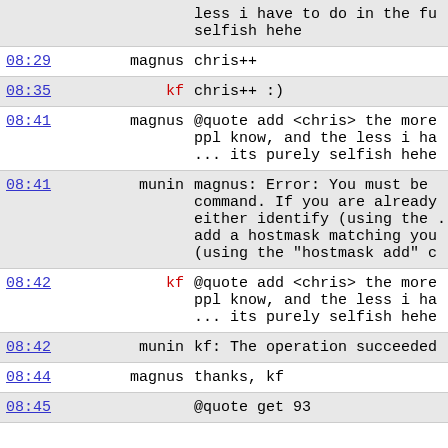| time | name | message |
| --- | --- | --- |
|  |  | less i have to do in the fu selfish hehe |
| 08:29 | magnus | chris++ |
| 08:35 | kf | chris++ :) |
| 08:41 | magnus | @quote add <chris> the more ppl know, and the less i ha ... its purely selfish hehe |
| 08:41 | munin | magnus: Error: You must be command. If you are already either identify (using the . add a hostmask matching you (using the "hostmask add" c |
| 08:42 | kf | @quote add <chris> the more ppl know, and the less i ha ... its purely selfish hehe |
| 08:42 | munin | kf: The operation succeeded |
| 08:44 | magnus | thanks, kf |
| 08:45 |  | @quote get 93 |